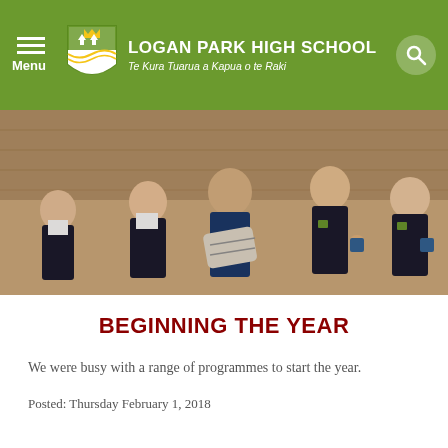LOGAN PARK HIGH SCHOOL — Te Kura Tuarua a Kapua o te Raki
[Figure (photo): Five high school students standing in a gymnasium. Students are in school uniforms (black jackets, white shirts, plaid skirts). One student in the center holds a newspaper-wrapped project; others hold blue objects. They are smiling.]
BEGINNING THE YEAR
We were busy with a range of programmes to start the year.
Posted: Thursday February 1, 2018